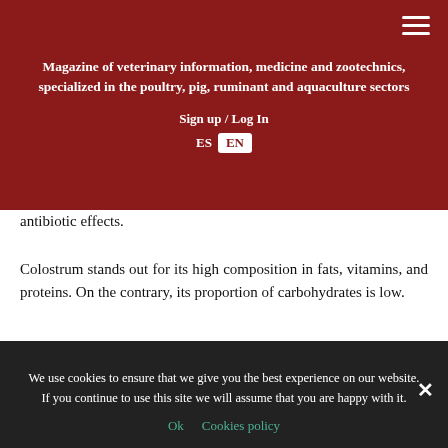Magazine of veterinary information, medicine and zootechnics, specialized in the poultry, pig, ruminant and aquaculture sectors
Sign up / Log In
ES EN
antibiotic effects.
Colostrum stands out for its high composition in fats, vitamins, and proteins. On the contrary, its proportion of carbohydrates is low.
Breastfeeding
The cow starts breastfeeding with the production of colostrum that will last a few days. Afterward, the
We use cookies to ensure that we give you the best experience on our website. If you continue to use this site we will assume that you are happy with it.
Ok   Cookies policy